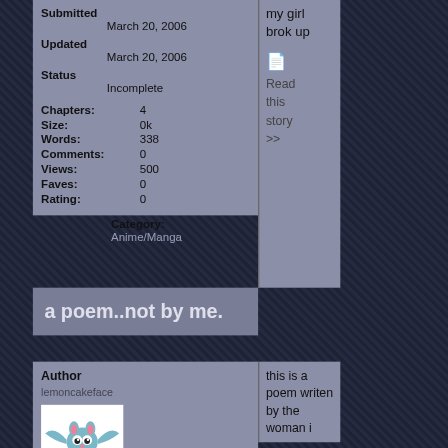Submitted
March 20, 2006
Updated
March 20, 2006
Status
Incomplete
Chapters: 4
Size: 0k
Words: 338
Comments: 0
Views: 500
Faves: 0
Rating: 0
Category:
Anime/Manga
my girl brok up
Read this story >>
a poem..not by me.
Author
lemoncakeface
[Figure (illustration): Cartoon bat avatar image]
this is a poem writen by the woman i